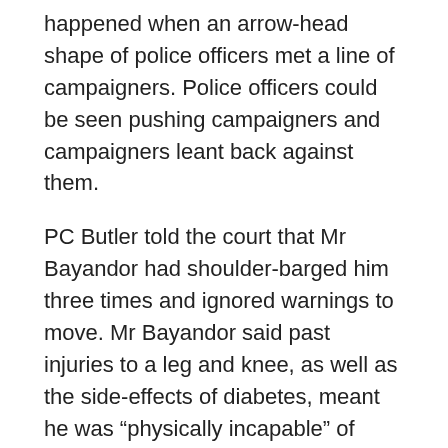happened when an arrow-head shape of police officers met a line of campaigners. Police officers could be seen pushing campaigners and campaigners leant back against them.
PC Butler told the court that Mr Bayandor had shoulder-barged him three times and ignored warnings to move. Mr Bayandor said past injuries to a leg and knee, as well as the side-effects of diabetes, meant he was “physically incapable” of doing this. He said he had not intentionally made contact with PC Butler – and if he had it was an accident because of the number of people in the crowd.
Stephen Knight, for Mr Bayandor, suggested that his client was arrested because he stood out to police. They thought he was a ring-leader because he had a loud hailer. Mr Knight added that during a police interview, Mr Bayandor was asked only about his